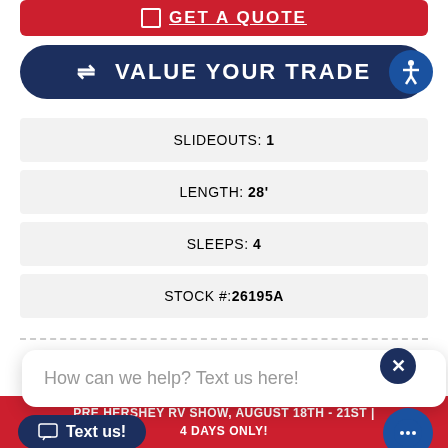[Figure (screenshot): Red GET A QUOTE button with checkbox icon and underlined text]
[Figure (screenshot): Dark navy VALUE YOUR TRADE button with arrows icon and accessibility button]
SLIDEOUTS: 1
LENGTH: 28'
SLEEPS: 4
STOCK #:26195A
How can we help? Text us here!
R 23RL
[Figure (photo): RV trailer photo inside a dealership building]
PRE HERSHEY RV SHOW, AUGUST 18TH - 21ST | 4 DAYS ONLY!